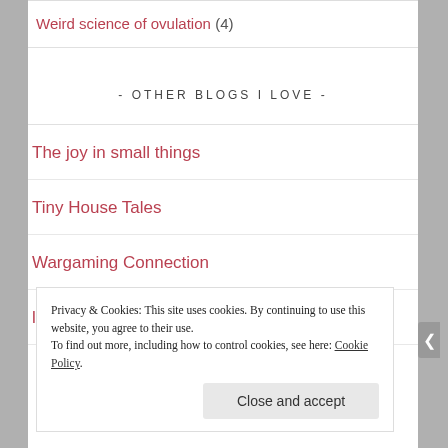Weird science of ovulation (4)
- OTHER BLOGS I LOVE -
The joy in small things
Tiny House Tales
Wargaming Connection
littlest ray of sunshine
Privacy & Cookies: This site uses cookies. By continuing to use this website, you agree to their use.
To find out more, including how to control cookies, see here: Cookie Policy
Close and accept